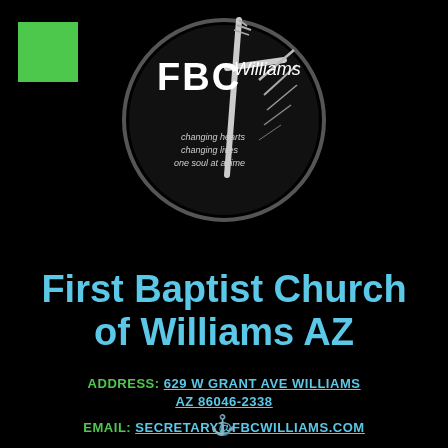[Figure (logo): FBC Williams church logo — circular dark emblem with cross, text 'FBC Williams' and tagline 'changing hearts changing lives one soul at a time']
First Baptist Church of Williams AZ
ADDRESS: 629 W GRANT AVE WILLIAMS AZ 86046-2338
EMAIL: SECRETARY@FBCWILLIAMS.COM
PHONE: 928-635-4692